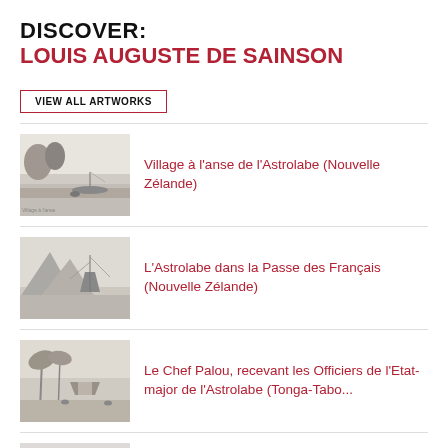DISCOVER:
LOUIS AUGUSTE DE SAINSON
VIEW ALL ARTWORKS
[Figure (illustration): Grayscale engraving of a coastal village scene with boats and trees — Village à l'anse de l'Astrolabe (Nouvelle Zélande)]
Village à l'anse de l'Astrolabe (Nouvelle Zélande)
[Figure (illustration): Grayscale engraving of a sailship passing through a rocky mountain channel — L'Astrolabe dans la Passe des Français (Nouvelle Zélande)]
L'Astrolabe dans la Passe des Français (Nouvelle Zélande)
[Figure (illustration): Grayscale engraving of a tropical scene with huts and palm trees — Le Chef Palou, recevant les Officiers de l'Etat-major de l'Astrolabe (Tonga-Tabo...]
Le Chef Palou, recevant les Officiers de l'Etat-major de l'Astrolabe (Tonga-Tabo...
[Figure (illustration): Partial view of a grayscale engraving — Vue intérieure de la Maison des Femmes du...]
Vue intérieure de la Maison des Femmes du